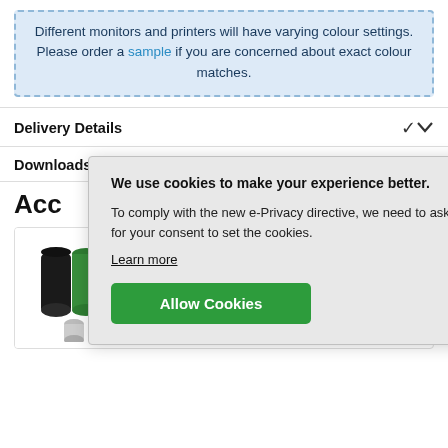Different monitors and printers will have varying colour settings. Please order a sample if you are concerned about exact colour matches.
Delivery Details
Downloads
Acc
[Figure (photo): Group of coloured aluminium standoff/spacer cylinders in black, green, gold, blue, silver and red colours, various sizes.]
As low as £2.94
We use cookies to make your experience better. To comply with the new e-Privacy directive, we need to ask for your consent to set the cookies. Learn more
Allow Cookies